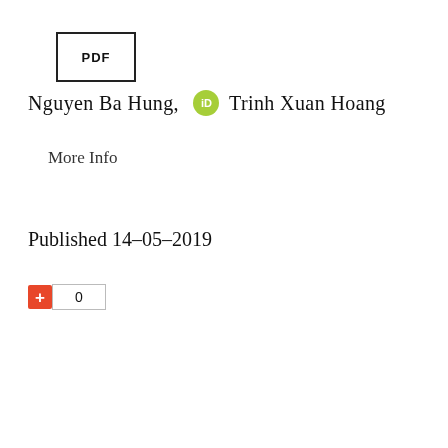[Figure (other): PDF button box with bold label 'PDF']
Nguyen Ba Hung,   Trinh Xuan Hoang
More Info
Published 14-05-2019
[Figure (other): Citation count widget: red plus button and count box showing 0]
[Figure (other): Preview card with dark purple top border containing a purple asterisk/splat logo icon]